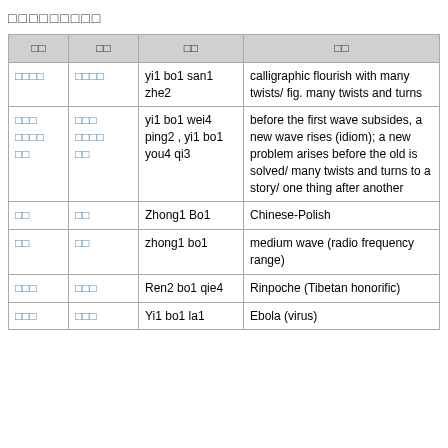□□□□□□□□□
| □□ | □□ | □□ | □□ |
| --- | --- | --- | --- |
| □□□□ | □□□□ | yi1 bo1 san1 zhe2 | calligraphic flourish with many twists/ fig. many twists and turns |
| □□□
□□□□
□□ | □□□
□□□□
□□ | yi1 bo1 wei4 ping2 , yi1 bo1 you4 qi3 | before the first wave subsides, a new wave rises (idiom); a new problem arises before the old is solved/ many twists and turns to a story/ one thing after another |
| □□ | □□ | Zhong1 Bo1 | Chinese-Polish |
| □□ | □□ | zhong1 bo1 | medium wave (radio frequency range) |
| □□□ | □□□ | Ren2 bo1 qie4 | Rinpoche (Tibetan honorific) |
| □□□ | □□□ | Yi1 bo1 la1 | Ebola (virus) |